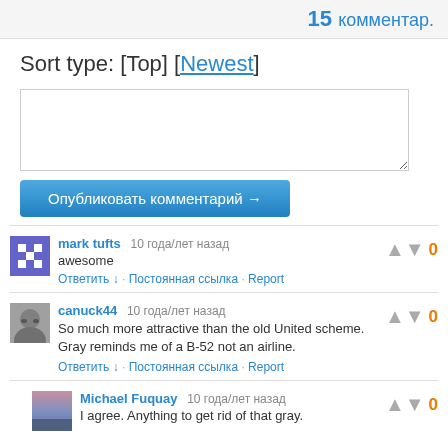15 комментар.
Sort type: [Top] [Newest]
Опубликовать комментарий →
mark tufts  10 года/лет назад
awesome
Ответить ↓ · Постоянная ссылка · Report
Vote: 0
canuck44  10 года/лет назад
So much more attractive than the old United scheme. Gray reminds me of a B-52 not an airline.
Ответить ↓ · Постоянная ссылка · Report
Vote: 0
Michael Fuquay  10 года/лет назад
I agree. Anything to get rid of that gray.
Vote: 0